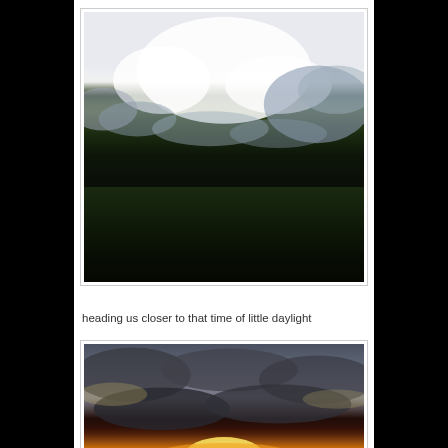[Figure (photo): Outdoor sunset/dusk photograph showing silhouetted dense vegetation and trees in the lower half against a cloudy sky with a glowing sun partially visible behind the foliage]
heading us closer to that time of little daylight
[Figure (photo): Outdoor sunset photograph showing a dramatic sky with dark clouds and a bright glowing sun near the horizon, dramatic golden and grey tones]